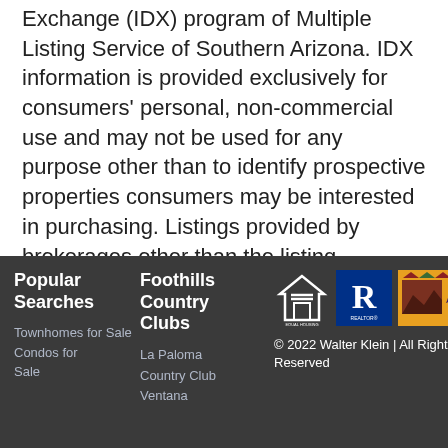Exchange (IDX) program of Multiple Listing Service of Southern Arizona. IDX information is provided exclusively for consumers' personal, non-commercial use and may not be used for any purpose other than to identify prospective properties consumers may be interested in purchasing. Listings provided by brokerages other than the listing brokerage here are identified with the MLSSAZ IDX Logo. All Information Is Deemed Reliable But Is Not Guaranteed Accurate. Listing information Copyright 2020 MLS of Southern Arizona. All Rights Reserved.
Saturday 27th of August 2022 06:29 PM
Popular Searches | Foothills Country Clubs | Townhomes for Sale | Condos for Sale | La Paloma Country Club | Ventana | © 2022 Walter Klein | All Rights Reserved